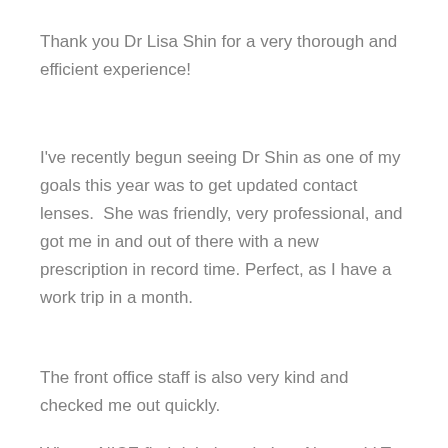Thank you Dr Lisa Shin for a very thorough and efficient experience!
I've recently begun seeing Dr Shin as one of my goals this year was to get updated contact lenses.  She was friendly, very professional, and got me in and out of there with a new prescription in record time. Perfect, as I have a work trip in a month.
The front office staff is also very kind and checked me out quickly.
What a NICE find right here in Los Alamos ! LT